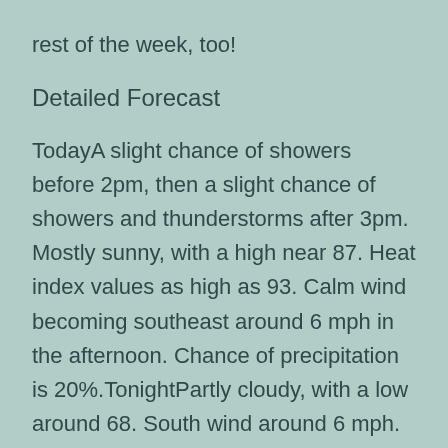rest of the week, too!
Detailed Forecast
TodayA slight chance of showers before 2pm, then a slight chance of showers and thunderstorms after 3pm. Mostly sunny, with a high near 87. Heat index values as high as 93. Calm wind becoming southeast around 6 mph in the afternoon. Chance of precipitation is 20%.TonightPartly cloudy, with a low around 68. South wind around 6 mph. ThursdayA chance of showers before 11am, then a chance of showers and thunderstorms